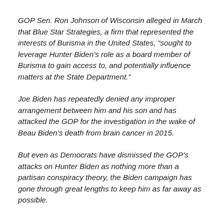GOP Sen. Ron Johnson of Wisconsin alleged in March that Blue Star Strategies, a firm that represented the interests of Burisma in the United States, “sought to leverage Hunter Biden’s role as a board member of Burisma to gain access to, and potentially influence matters at the State Department.”
Joe Biden has repeatedly denied any improper arrangement between him and his son and has attacked the GOP for the investigation in the wake of Beau Biden’s death from brain cancer in 2015.
But even as Democrats have dismissed the GOP’s attacks on Hunter Biden as nothing more than a partisan conspiracy theory, the Biden campaign has gone through great lengths to keep him as far away as possible.